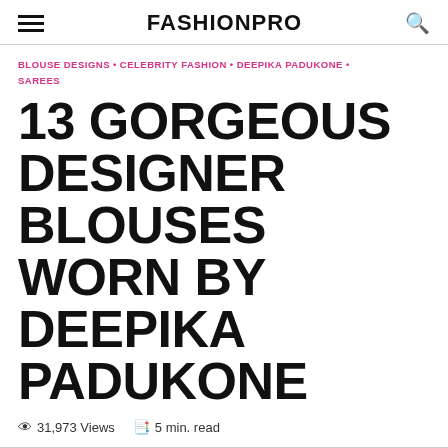FASHIONPRO
BLOUSE DESIGNS • CELEBRITY FASHION • DEEPIKA PADUKONE • SAREES
13 GORGEOUS DESIGNER BLOUSES WORN BY DEEPIKA PADUKONE
31,973 Views  5 min. read
Page 1 of 2